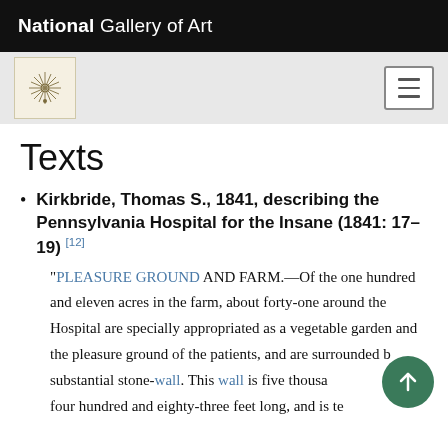National Gallery of Art
[Figure (logo): Art inventory logo/seal with starburst design on cream background]
Texts
Kirkbride, Thomas S., 1841, describing the Pennsylvania Hospital for the Insane (1841: 17–19) [12]
“PLEASURE GROUND AND FARM.—Of the one hundred and eleven acres in the farm, about forty-one around the Hospital are specially appropriated as a vegetable garden and the pleasure ground of the patients, and are surrounded by a substantial stone-wall. This wall is five thousand four hundred and eighty-three feet long, and is ten